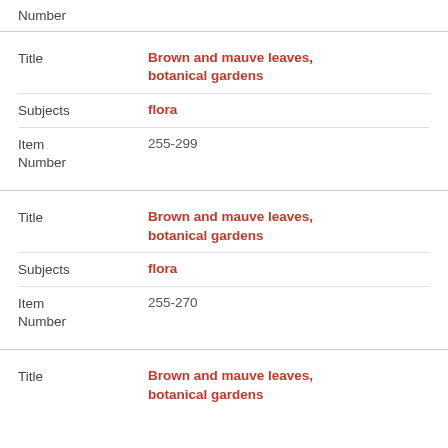Number
| Field | Value |
| --- | --- |
| Title | Brown and mauve leaves, botanical gardens |
| Subjects | flora |
| Item Number | 255-299 |
| Field | Value |
| --- | --- |
| Title | Brown and mauve leaves, botanical gardens |
| Subjects | flora |
| Item Number | 255-270 |
| Field | Value |
| --- | --- |
| Title | Brown and mauve leaves, botanical gardens |